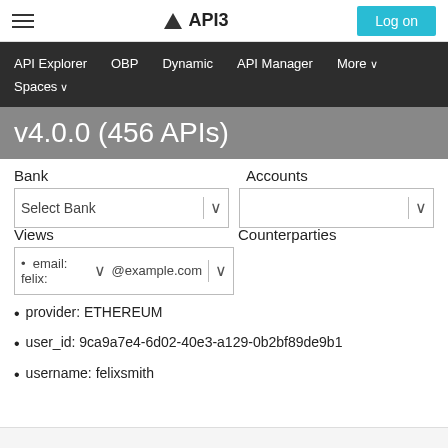API3 Log on
API Explorer  OBP  Dynamic  API Manager  More ∨  Spaces ∨
v4.0.0 (456 APIs)
Bank
Accounts
Select Bank
Views
Counterparties
email: felix: @example.com
provider: ETHEREUM
user_id: 9ca9a7e4-6d02-40e3-a129-0b2bf89de9b1
username: felixsmith